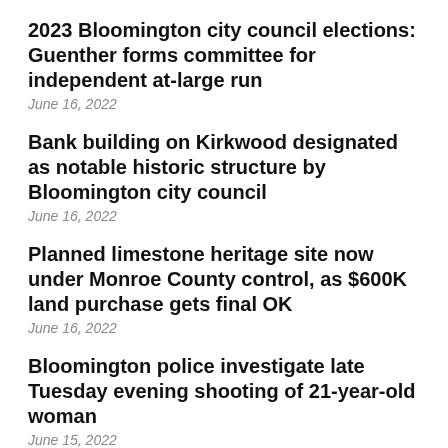2023 Bloomington city council elections: Guenther forms committee for independent at-large run
June 16, 2022
Bank building on Kirkwood designated as notable historic structure by Bloomington city council
June 16, 2022
Planned limestone heritage site now under Monroe County control, as $600K land purchase gets final OK
June 16, 2022
Bloomington police investigate late Tuesday evening shooting of 21-year-old woman
June 15, 2022
Two down, one to go: High-speed internet deal